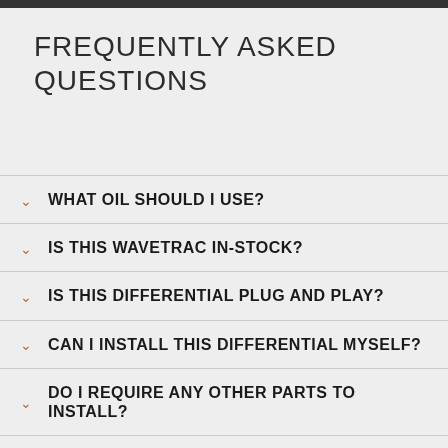FREQUENTLY ASKED QUESTIONS
WHAT OIL SHOULD I USE?
IS THIS WAVETRAC IN-STOCK?
IS THIS DIFFERENTIAL PLUG AND PLAY?
CAN I INSTALL THIS DIFFERENTIAL MYSELF?
DO I REQUIRE ANY OTHER PARTS TO INSTALL?